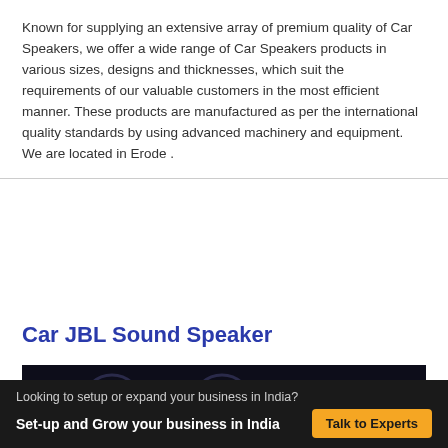Known for supplying an extensive array of premium quality of Car Speakers, we offer a wide range of Car Speakers products in various sizes, designs and thicknesses, which suit the requirements of our valuable customers in the most efficient manner. These products are manufactured as per the international quality standards by using advanced machinery and equipment. We are located in Erode .
Car JBL Sound Speaker
[Figure (photo): Dark dashboard interior of a car showing instrument cluster and center console, dimly lit]
Looking to setup or expand your business in India?
Set-up and Grow your business in India  Talk to Experts